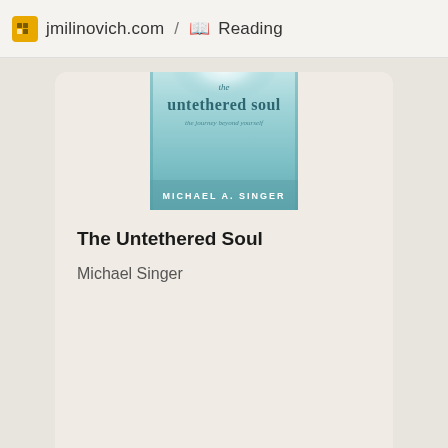jmilinovich.com / 📖 Reading
[Figure (photo): Book cover of 'The Untethered Soul: The Journey Beyond Yourself' by Michael A. Singer. Light blue/teal cover with glowing white light at the top and vertical stripe details.]
The Untethered Soul
Michael Singer